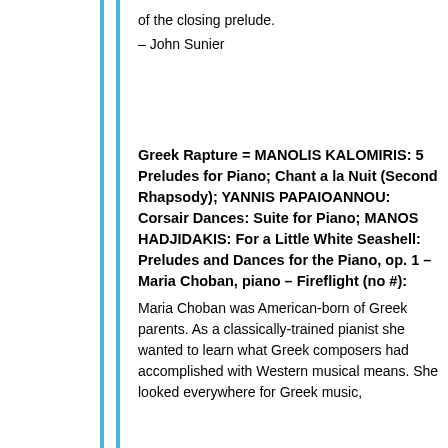of the closing prelude.
– John Sunier
Greek Rapture = MANOLIS KALOMIRIS: 5 Preludes for Piano; Chant a la Nuit (Second Rhapsody); YANNIS PAPAIOANNOU: Corsair Dances: Suite for Piano; MANOS HADJIDAKIS: For a Little White Seashell: Preludes and Dances for the Piano, op. 1 – Maria Choban, piano – Fireflight (no #):
Maria Choban was American-born of Greek parents. As a classically-trained pianist she wanted to learn what Greek composers had accomplished with Western musical means. She looked everywhere for Greek music,